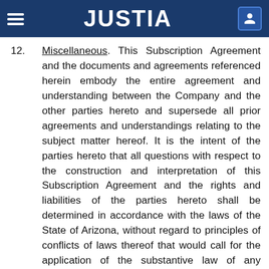JUSTIA
12. Miscellaneous. This Subscription Agreement and the documents and agreements referenced herein embody the entire agreement and understanding between the Company and the other parties hereto and supersede all prior agreements and understandings relating to the subject matter hereof. It is the intent of the parties hereto that all questions with respect to the construction and interpretation of this Subscription Agreement and the rights and liabilities of the parties hereto shall be determined in accordance with the laws of the State of Arizona, without regard to principles of conflicts of laws thereof that would call for the application of the substantive law of any jurisdiction other than the State of Arizona. Each of the parties hereto irrevocably and unconditionally agrees (i) to be subject to the jurisdiction of the courts of the State of